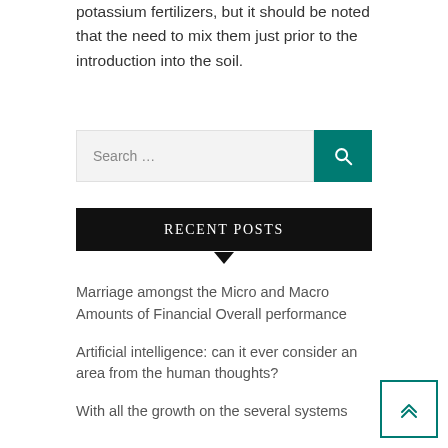potassium fertilizers, but it should be noted that the need to mix them just prior to the introduction into the soil.
[Figure (other): Search bar with teal search button and magnifying glass icon]
RECENT POSTS
Marriage amongst the Micro and Macro Amounts of Financial Overall performance
Artificial intelligence: can it ever consider an area from the human thoughts?
With all the growth on the several systems